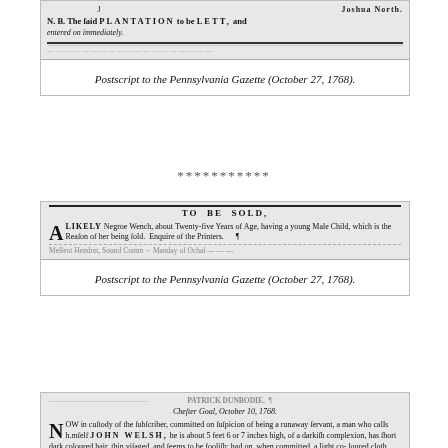[Figure (photo): Scanned excerpt from Postscript to the Pennsylvania Gazette showing 'JOSHUA NORTH' and 'N. B. The said PLANTATION to be LETT, and entered on immediately.']
Postscript to the Pennsylvania Gazette (October 27, 1768).
***********
[Figure (photo): Scanned excerpt from Postscript to the Pennsylvania Gazette showing 'TO BE SOLD, A LIKELY Negroe Wench, about Twenty-five Years of Age, having a young Male Child, which is the Reason of her being sold. Enquire of the Printers.']
Postscript to the Pennsylvania Gazette (October 27, 1768).
***********
[Figure (photo): Scanned excerpt showing 'Chester Goal, October 10, 1768. NOW in custody of the subscriber, committed on suspicion of being a runaway servant, a man who calls himself JOHN WELSH, he is about 5 feet 6 or 7 inches high, of a darkish complexion, has short dark coloured hair, thin visaged, and seems to be foolish; had on, when committed, a light coloured cloth coat, a pair of old nankeen breeches, a tow shirt,']